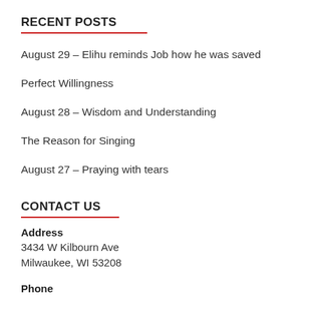RECENT POSTS
August 29 – Elihu reminds Job how he was saved
Perfect Willingness
August 28 – Wisdom and Understanding
The Reason for Singing
August 27 – Praying with tears
CONTACT US
Address
3434 W Kilbourn Ave
Milwaukee, WI 53208
Phone